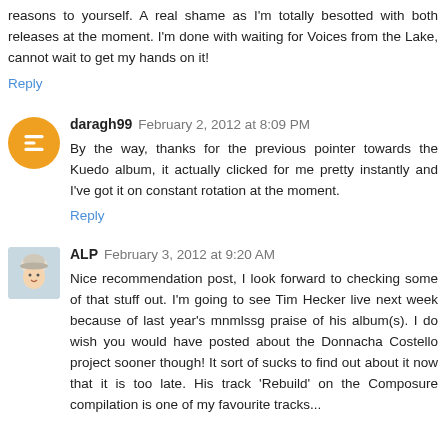reasons to yourself. A real shame as I'm totally besotted with both releases at the moment. I'm done with waiting for Voices from the Lake, cannot wait to get my hands on it!
Reply
daragh99  February 2, 2012 at 8:09 PM
By the way, thanks for the previous pointer towards the Kuedo album, it actually clicked for me pretty instantly and I've got it on constant rotation at the moment.
Reply
ALP  February 3, 2012 at 9:20 AM
Nice recommendation post, I look forward to checking some of that stuff out. I'm going to see Tim Hecker live next week because of last year's mnmlssg praise of his album(s). I do wish you would have posted about the Donnacha Costello project sooner though! It sort of sucks to find out about it now that it is too late. His track 'Rebuild' on the Composure compilation is one of my favourite tracks...